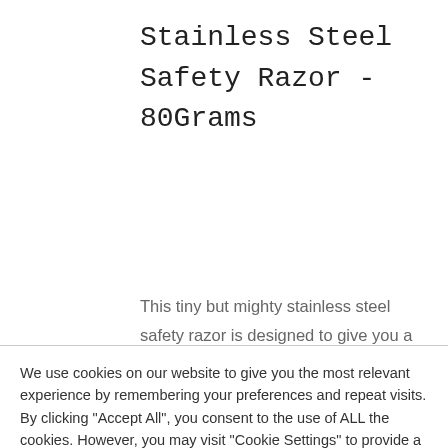Stainless Steel Safety Razor - 80Grams
This tiny but mighty stainless steel safety razor is designed to give you a great shave. Even when on the go. All of our Safety Razors are great for
We use cookies on our website to give you the most relevant experience by remembering your preferences and repeat visits. By clicking "Accept All", you consent to the use of ALL the cookies. However, you may visit "Cookie Settings" to provide a controlled consent.